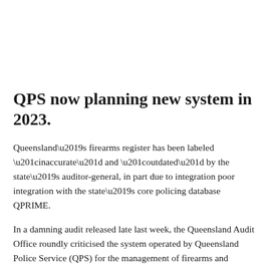QPS now planning new system in 2023.
Queensland’s firearms register has been labeled “inaccurate” and “outdated” by the state’s auditor-general, in part due to integration poor integration with the state’s core policing database QPRIME.
In a damning audit released late last week, the Queensland Audit Office roundly criticised the system operated by Queensland Police Service (QPS) for the management of firearms and licence holders.
“The state’s firearms register is not accurate and up-to-date. The firearms register is no longer fit-for-purpose,” the report said.